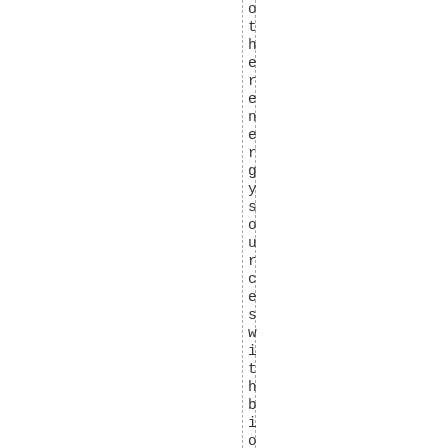other energy sources with biogas. if